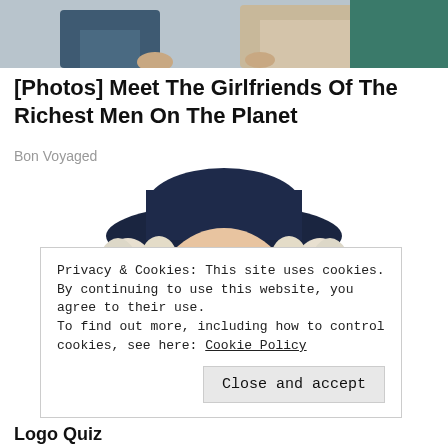[Figure (photo): Partial photo of two people sitting, cropped to show lower torsos and hands only, at top of page]
[Photos] Meet The Girlfriends Of The Richest Men On The Planet
Bon Voyaged
[Figure (illustration): Illustrated portrait of the Quaker Oats man — a smiling figure with white curly hair and a dark wide-brimmed hat]
Privacy & Cookies: This site uses cookies. By continuing to use this website, you agree to their use.
To find out more, including how to control cookies, see here: Cookie Policy
Close and accept
Logo Quiz